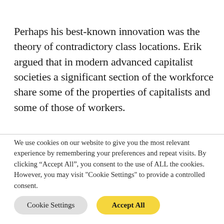Perhaps his best-known innovation was the theory of contradictory class locations. Erik argued that in modern advanced capitalist societies a significant section of the workforce share some of the properties of capitalists and some of those of workers.
We use cookies on our website to give you the most relevant experience by remembering your preferences and repeat visits. By clicking “Accept All”, you consent to the use of ALL the cookies. However, you may visit "Cookie Settings" to provide a controlled consent.